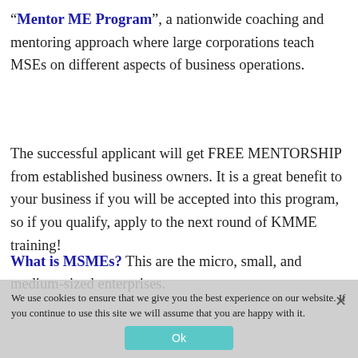“Mentor ME Program”, a nationwide coaching and mentoring approach where large corporations teach MSEs on different aspects of business operations.
The successful applicant will get FREE MENTORSHIP from established business owners. It is a great benefit to your business if you will be accepted into this program, so if you qualify, apply to the next round of KMME training!
What is MSMEs? This are the micro, small, and medium-sized enterprises.
We use cookies to ensure that we give you the best experience on our website. If you continue to use this site we will assume that you are happy with it.